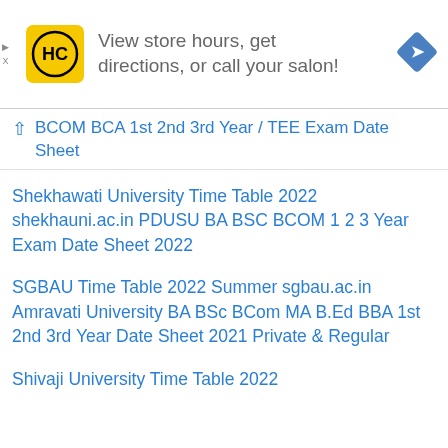[Figure (infographic): Advertisement banner with HC salon logo (yellow square with black HC text), text 'View store hours, get directions, or call your salon!', and a blue navigation/directions diamond icon on the right.]
BCOM BCA 1st 2nd 3rd Year / TEE Exam Date Sheet
Shekhawati University Time Table 2022 shekhauni.ac.in PDUSU BA BSC BCOM 1 2 3 Year Exam Date Sheet 2022
SGBAU Time Table 2022 Summer sgbau.ac.in Amravati University BA BSc BCom MA B.Ed BBA 1st 2nd 3rd Year Date Sheet 2021 Private & Regular
Shivaji University Time Table 2022